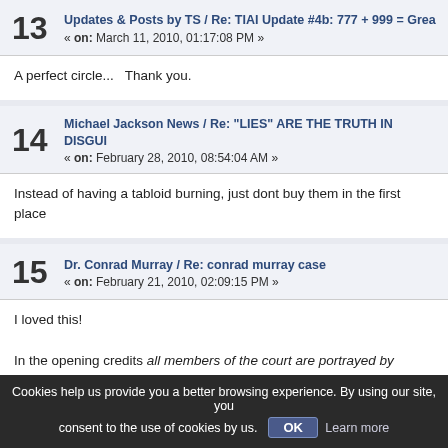13 Updates & Posts by TS / Re: TIAI Update #4b: 777 + 999 = Grea... « on: March 11, 2010, 01:17:08 PM »
A perfect circle...  Thank you.
14 Michael Jackson News / Re: "LIES" ARE THE TRUTH IN DISGUIS... « on: February 28, 2010, 08:54:04 AM »
Instead of having a tabloid burning, just dont buy them in the first place
15 Dr. Conrad Murray / Re: conrad murray case « on: February 21, 2010, 02:09:15 PM »
I loved this!

In the opening credits all members of the court are portrayed by actors
Cookies help us provide you a better browsing experience. By using our site, you consent to the use of cookies by us. OK Learn more